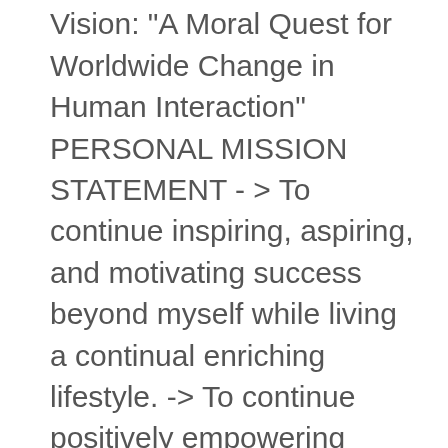many lives as possible. Vision: "A Moral Quest for Worldwide Change in Human Interaction" PERSONAL MISSION STATEMENT -> To continue inspiring, aspiring, and motivating success beyond myself while living a continual enriching lifestyle. -> To continue positively empowering myself toward financial independence while assisting as many lives as possible for the same. -> To continue promoting health, wellness, and nutrition for desirable outcomes with others while enjoying my journey through every endeavor. INTERESTS: -> I assist men and